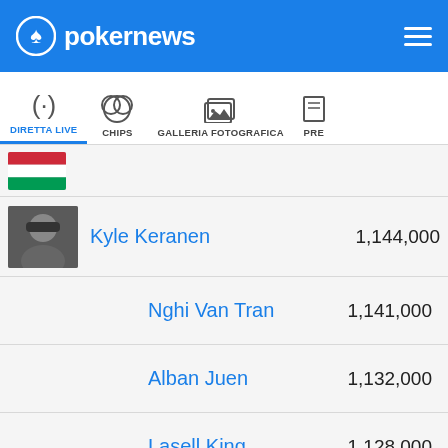pokernews
DIRETTA LIVE | CHIPS | GALLERIA FOTOGRAFICA | PRE
Kyle Keranen 1,144,000
Nghi Van Tran 1,141,000
Alban Juen 1,132,000
Lasell King 1,128,000
Christopher Andler 1,121,000